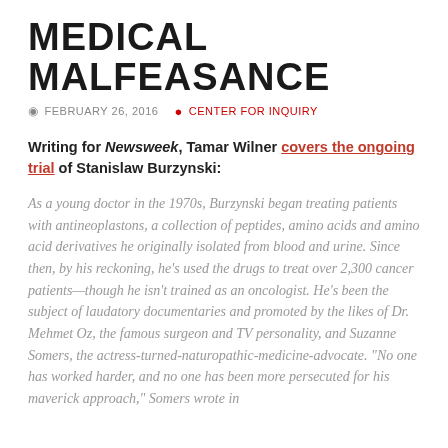MEDICAL MALFEASANCE
FEBRUARY 26, 2016   CENTER FOR INQUIRY
Writing for Newsweek, Tamar Wilner covers the ongoing trial of Stanislaw Burzynski:
As a young doctor in the 1970s, Burzynski began treating patients with antineoplastons, a collection of peptides, amino acids and amino acid derivatives he originally isolated from blood and urine. Since then, by his reckoning, he’s used the drugs to treat over 2,300 cancer patients—though he isn’t trained as an oncologist. He’s been the subject of laudatory documentaries and promoted by the likes of Dr. Mehmet Oz, the famous surgeon and TV personality, and Suzanne Somers, the actress-turned-naturopathic-medicine-advocate. “No one has worked harder, and no one has been more persecuted for his maverick approach,” Somers wrote in